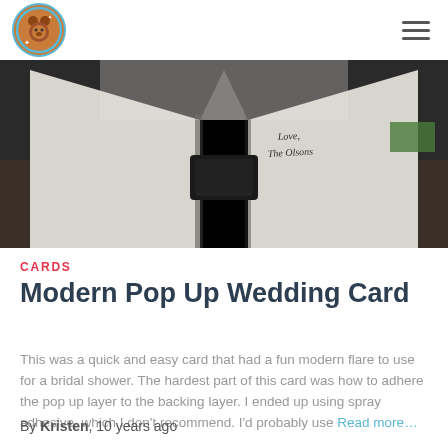Blog site header with logo and hamburger menu
[Figure (photo): Close-up photo of a modern pop-up wedding card with handwritten text reading 'Love, The Olsons' on white card panels against a dark background]
CARDS
Modern Pop Up Wedding Card
This was a quick and easy card that had a fun modern flare to use for a bridal shower. The hardest part of this card was how to adhere the pop up layer to the backing layer. I ended up using spray adhesive, which I don't recommend. I'd probably use Read more…
By Kristen, 10 years ago